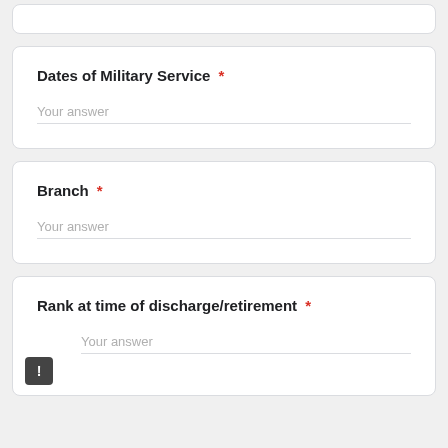(partial card at top, no visible content)
Dates of Military Service *
Your answer
Branch *
Your answer
Rank at time of discharge/retirement *
Your answer